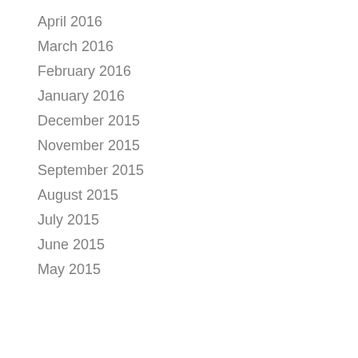April 2016
March 2016
February 2016
January 2016
December 2015
November 2015
September 2015
August 2015
July 2015
June 2015
May 2015